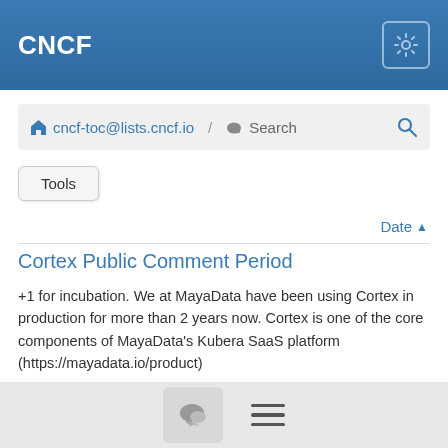CNCF
cncf-toc@lists.cncf.io / Search
Tools
Date ▲
Cortex Public Comment Period
+1 for incubation. We at MayaData have been using Cortex in production for more than 2 years now. Cortex is one of the core components of MayaData's Kubera SaaS platform (https://mayadata.io/product)
By Kiran Mova · #4996 · 7/21/20
[VOTE] KubeEdge for Incubation